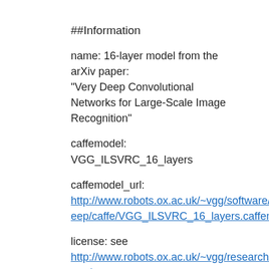##Information
name: 16-layer model from the arXiv paper: "Very Deep Convolutional Networks for Large-Scale Image Recognition"
caffemodel: VGG_ILSVRC_16_layers
caffemodel_url: http://www.robots.ox.ac.uk/~vgg/software/very_deep/caffe/VGG_ILSVRC_16_layers.caffemodel
license: see http://www.robots.ox.ac.uk/~vgg/research/very_deep/
caffe_version: trained using a custom Caffe-based framework
gist_id: 211839e770f7b538e2d8